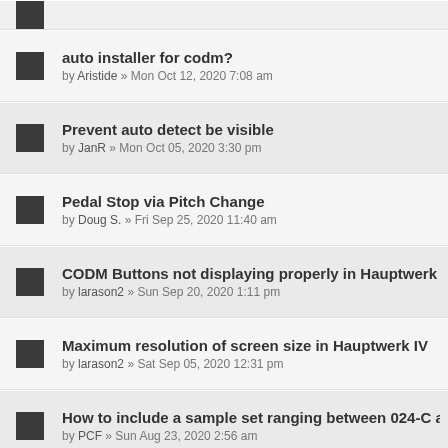auto installer for codm? by Aristide » Mon Oct 12, 2020 7:08 am
Prevent auto detect be visible by JanR » Mon Oct 05, 2020 3:30 pm
Pedal Stop via Pitch Change by Doug S. » Fri Sep 25, 2020 11:40 am
CODM Buttons not displaying properly in Hauptwerk IV by larason2 » Sun Sep 20, 2020 1:11 pm
Maximum resolution of screen size in Hauptwerk IV by larason2 » Sat Sep 05, 2020 12:31 pm
How to include a sample set ranging between 024-C an by PCF » Sun Aug 23, 2020 2:56 am
Additional Jeux d'Extension in St-Etienne Caen by psallo » Sat Aug 22, 2020 6:22 pm
Help for creating a personal organ definition based on by grs » Mon Aug 17, 2020 3:56 am
3-position Stop switch by takatsa » Thu Aug 06, 2020 10:30 am